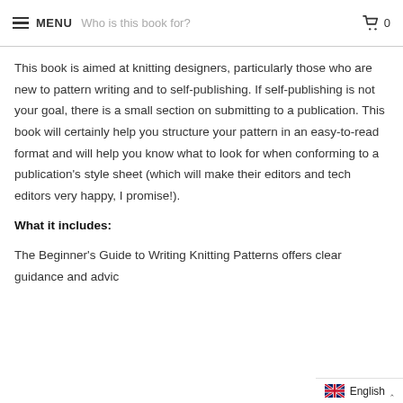MENU  Who is this book for?  0
This book is aimed at knitting designers, particularly those who are new to pattern writing and to self-publishing. If self-publishing is not your goal, there is a small section on submitting to a publication. This book will certainly help you structure your pattern in an easy-to-read format and will help you know what to look for when conforming to a publication's style sheet (which will make their editors and tech editors very happy, I promise!).
What it includes:
The Beginner's Guide to Writing Knitting Patterns offers clear guidance and advic